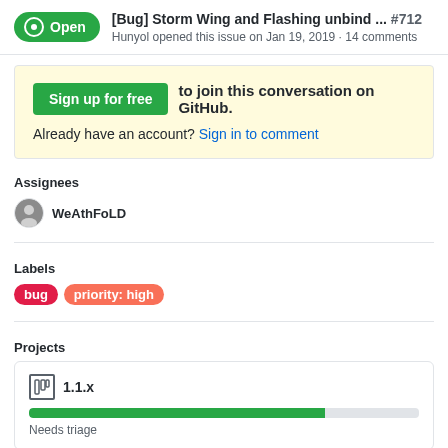[Bug] Storm Wing and Flashing unbind ... #712
Hunyol opened this issue on Jan 19, 2019 · 14 comments
Sign up for free to join this conversation on GitHub.
Already have an account? Sign in to comment
Assignees
WeAthFoLD
Labels
bug   priority: high
Projects
1.1.x
Needs triage